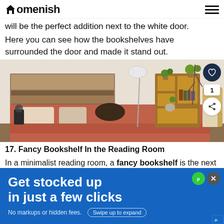Homenish
will be the perfect addition next to the white door. Here you can see how the bookshelves have surrounded the door and made it stand out.
[Figure (photo): Bedroom with rustic wooden headboard, terracotta bedding, a wooden geometric bookshelf with plants and books, a floor lamp, wicker chair, and white wall.]
17. Fancy Bookshelf In the Reading Room
In a minimalist reading room, a fancy bookshelf is the next best thing. Fill it with decorative pieces and a few b... ring...
[Figure (infographic): Advertisement overlay: blue background with text 'Get stocked up in just a few clicks', subtext 'No markups or hidden fees.' with a 'Swipe up to expand' button.]